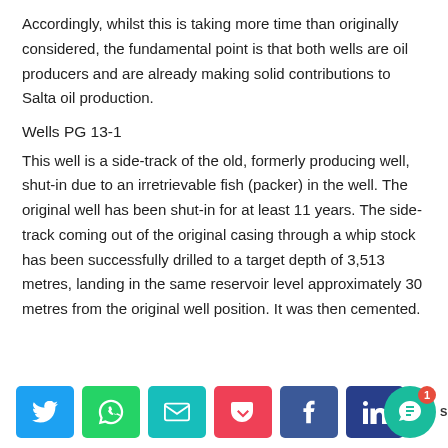Accordingly, whilst this is taking more time than originally considered, the fundamental point is that both wells are oil producers and are already making solid contributions to Salta oil production.
Wells PG 13-1
This well is a side-track of the old, formerly producing well, shut-in due to an irretrievable fish (packer) in the well. The original well has been shut-in for at least 11 years. The side-track coming out of the original casing through a whip stock has been successfully drilled to a target depth of 3,513 metres, landing in the same reservoir level approximately 30 metres from the original well position. It was then cemented.